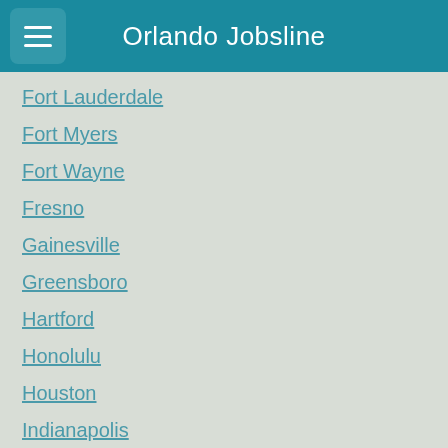Orlando Jobsline
Fort Lauderdale
Fort Myers
Fort Wayne
Fresno
Gainesville
Greensboro
Hartford
Honolulu
Houston
Indianapolis
Jacksonville